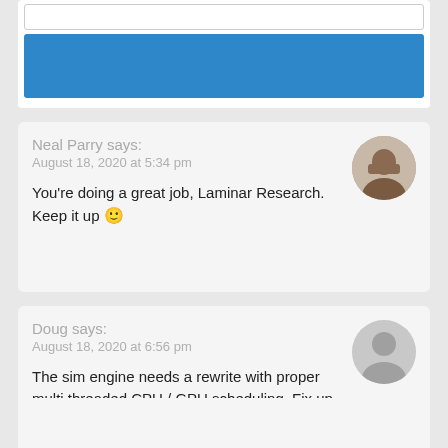[Figure (screenshot): Top card with input field and blue button area]
Neal Parry says:
August 18, 2020 at 5:34 pm
You're doing a great job, Laminar Research. Keep it up 🙂
Doug says:
August 18, 2020 at 6:56 pm
The sim engine needs a rewrite with proper multi threaded CPU / GPU scheduling. Fix up graphics defects and bugs. Drop linux, drop Glomo. Add 3d trees etc etc.